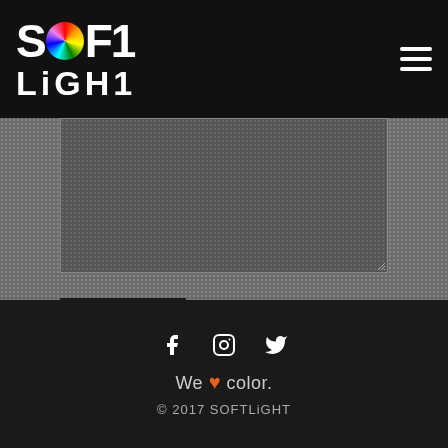[Figure (logo): SOFT LIGHT logo with colorful circular 'O' in white text on dark header, with hamburger menu icon on the right]
[Figure (screenshot): Dark gray textured form area with a darker textarea input field and a SEND button]
[Figure (other): Dark back-to-top button with upward chevron arrows]
[Figure (other): Social media icons: Facebook, Instagram, Twitter in white on dark footer]
We ❤ color.
© 2017 SOFTLiGHT